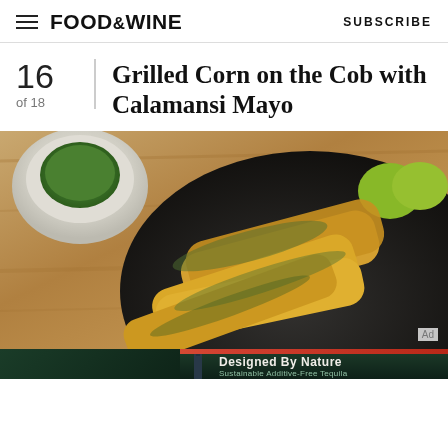FOOD&WINE  SUBSCRIBE
16 of 18  Grilled Corn on the Cob with Calamansi Mayo
[Figure (photo): Grilled corn on the cob with calamansi mayo on a dark plate, with lime halves and a bowl of green seasoning on a wooden surface]
[Figure (photo): Mijenta tequila advertisement banner: 'Designed By Nature - Sustainable Additive-Free Tequila']